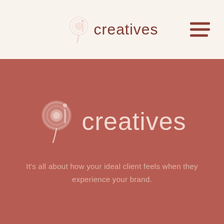gi creatives — navigation header
[Figure (logo): gi creatives logo with spiral/speech bubble '9i' icon and text 'creatives' in terracotta color on cream background, with hamburger menu icon on the right]
[Figure (logo): gi creatives logo centered on terracotta/rust red background — large '9i' spiral icon in blush pink, 'creatives' text in light blush pink]
It's all about how your ideal client feels when they experience your brand.